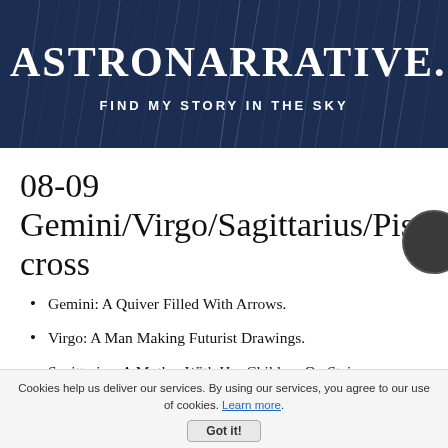[Figure (screenshot): Website banner with dark navy blue starry sky background, showing site name 'ASTRONARRATIVE.C' (truncated) and tagline 'FIND MY STORY IN THE SKY']
08-09
Gemini/Virgo/Sagittarius/Pisces cross
Gemini: A Quiver Filled With Arrows.
Virgo: A Man Making Futurist Drawings.
Sagittarius: A Mother With Her Children On Stairs.
Cookies help us deliver our services. By using our services, you agree to our use of cookies. Learn more.
Got it!